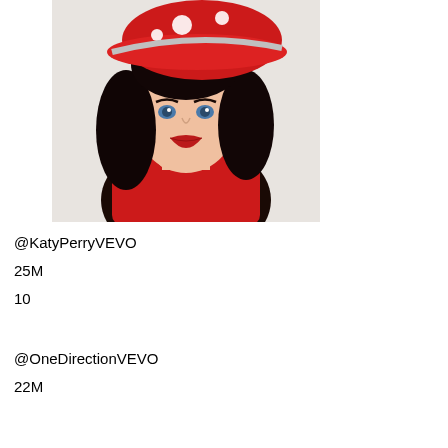[Figure (photo): Photo of Katy Perry wearing a red mushroom-shaped hat with white spots, red outfit, dark curly hair, bold red lips, blue eyes, posing with hand near chin against white background]
@KatyPerryVEVO
25M
10
@OneDirectionVEVO
22M